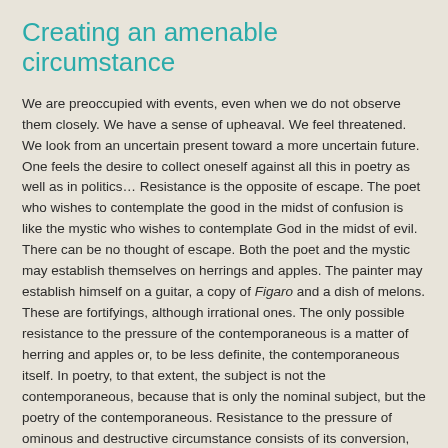Creating an amenable circumstance
We are preoccupied with events, even when we do not observe them closely. We have a sense of upheaval. We feel threatened. We look from an uncertain present toward a more uncertain future. One feels the desire to collect oneself against all this in poetry as well as in politics… Resistance is the opposite of escape. The poet who wishes to contemplate the good in the midst of confusion is like the mystic who wishes to contemplate God in the midst of evil. There can be no thought of escape. Both the poet and the mystic may establish themselves on herrings and apples. The painter may establish himself on a guitar, a copy of Figaro and a dish of melons. These are fortifyings, although irrational ones. The only possible resistance to the pressure of the contemporaneous is a matter of herring and apples or, to be less definite, the contemporaneous itself. In poetry, to that extent, the subject is not the contemporaneous, because that is only the nominal subject, but the poetry of the contemporaneous. Resistance to the pressure of ominous and destructive circumstance consists of its conversion, so far as possible, into a different, an explicable, an amenable circumstance. - Wallace Stevens, “The Irrational Element in Poetry”